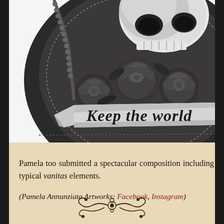[Figure (illustration): Black and white pencil drawing of a sugar skull (Day of the Dead style) surrounded by roses and decorative dotted border, with a banner ribbon at the bottom reading 'Keep the world' in cursive script. Only the lower portion of the skull illustration is visible — skull with teeth showing at top, roses beneath, and the banner across the bottom.]
Pamela too submitted a spectacular composition including typical vanitas elements.
(Pamela Annunziata Artworks: Facebook, Instagram)
[Figure (illustration): Decorative ornamental divider with scrollwork and flourishes in dark ink.]